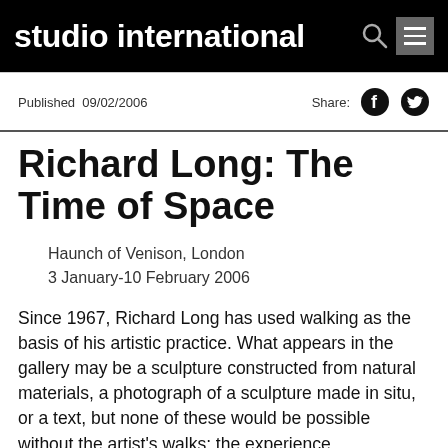studio international
Published 09/02/2006   Share:
Richard Long: The Time of Space
Haunch of Venison, London
3 January-10 February 2006
Since 1967, Richard Long has used walking as the basis of his artistic practice. What appears in the gallery may be a sculpture constructed from natural materials, a photograph of a sculpture made in situ, or a text, but none of these would be possible without the artist's walks: the experience